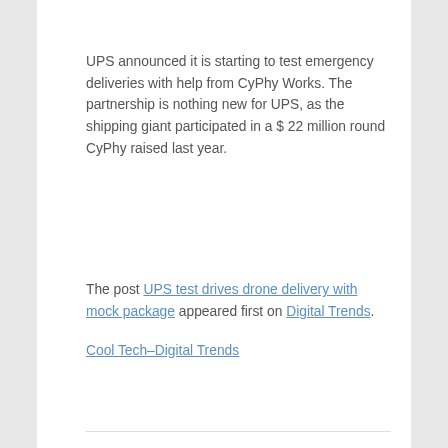UPS announced it is starting to test emergency deliveries with help from CyPhy Works. The partnership is nothing new for UPS, as the shipping giant participated in a $ 22 million round CyPhy raised last year.
The post UPS test drives drone delivery with mock package appeared first on Digital Trends.
Cool Tech–Digital Trends
delivery, drives, drone, mock, package, test
'Drone surfing' is now a thing
On September 16, 2016 by Michelle Turner With 0 Comments - Tech